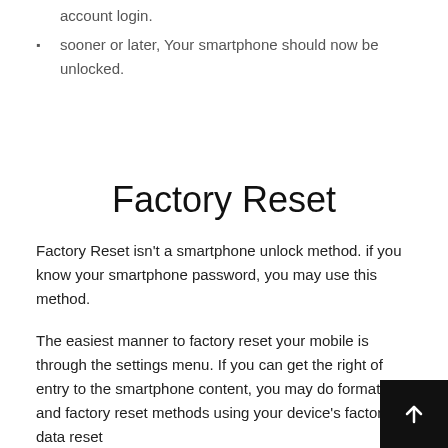account login.
sooner or later, Your smartphone should now be unlocked.
Factory Reset
Factory Reset isn't a smartphone unlock method. if you know your smartphone password, you may use this method.
The easiest manner to factory reset your mobile is through the settings menu. If you can get the right of entry to the smartphone content, you may do formatting and factory reset methods using your device's factory data reset